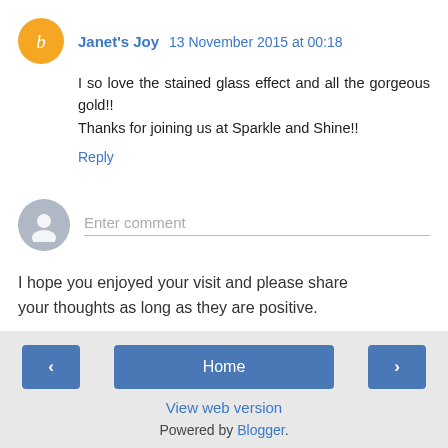Janet's Joy 13 November 2015 at 00:18 — I so love the stained glass effect and all the gorgeous gold!! Thanks for joining us at Sparkle and Shine!!
Reply
Enter comment
I hope you enjoyed your visit and please share your thoughts as long as they are positive.
‹  Home  › View web version Powered by Blogger.